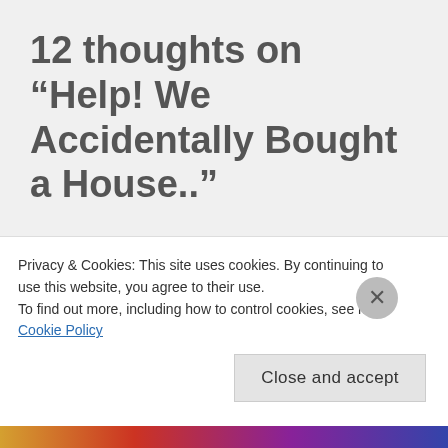12 thoughts on “Help! We Accidentally Bought a House..”
Pingback: Budgeting Tips for a Debt Free Home Rennovation – Laundry and Dishes
Privacy & Cookies: This site uses cookies. By continuing to use this website, you agree to their use.
To find out more, including how to control cookies, see here: Cookie Policy
Close and accept